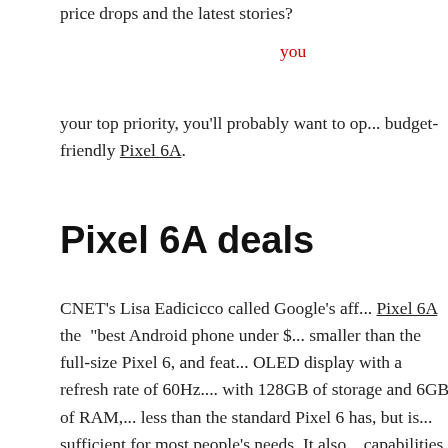price drops and the latest stories?
you
your top priority, you'll probably want to op... budget-friendly Pixel 6A.
Pixel 6A deals
CNET's Lisa Eadicicco called Google's aff... Pixel 6A the "best Android phone under $... smaller than the full-size Pixel 6, and feat... OLED display with a refresh rate of 60Hz.... with 128GB of storage and 6GB of RAM,... less than the standard Pixel 6 has, but is... sufficient for most people's needs. It also... capabilities and support for Wi-Fi 6 for lig... browsing. It's already a solid value at it's u... $449, but we've rounded up some of the b...